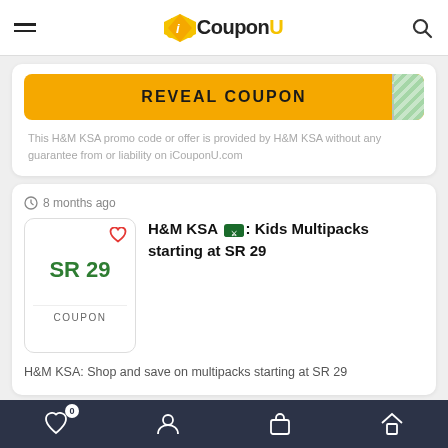iCouponU
REVEAL COUPON
This H&M KSA promo code or offer is provided by H&M KSA without any guarantee from or liability on iCouponU.com
8 months ago
SR 29
COUPON
H&M KSA: Kids Multipacks starting at SR 29
H&M KSA: Shop and save on multipacks starting at SR 29
0